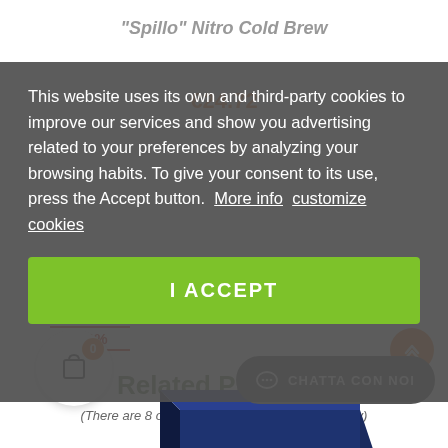"Spillo" Nitro Cold Brew
€24.72
This website uses its own and third-party cookies to improve our services and show you advertising related to your preferences by analyzing your browsing habits. To give your consent to its use, press the Accept button.   More info   customize cookies
I ACCEPT
Related Products
(There are 8 other products in the same category)
-50%
[Figure (photo): Product image of a dark blue box package at bottom of page]
CHATTA CON NOI